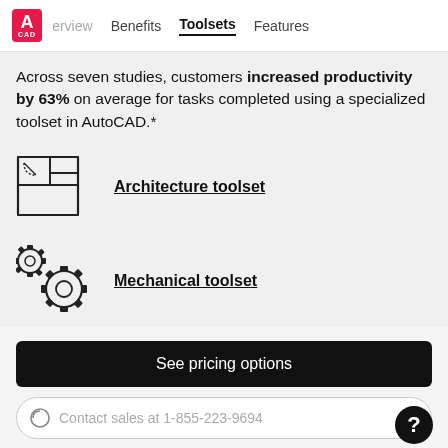AutoCAD — Overview | Benefits | Toolsets | Features
Across seven studies, customers increased productivity by 63% on average for tasks completed using a specialized toolset in AutoCAD.*
[Figure (illustration): Architecture toolset icon: floor plan schematic with rooms]
Architecture toolset
[Figure (illustration): Mechanical toolset icon: two interlocking gears]
Mechanical toolset
See pricing options
Contact sales at 1-855-223-9694